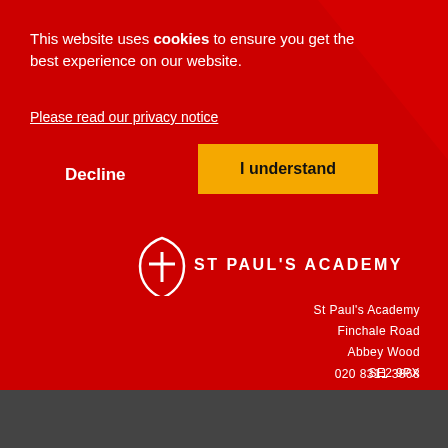This website uses cookies to ensure you get the best experience on our website.
Please read our privacy notice
Decline
I understand
[Figure (logo): St Paul's Academy logo: shield with cross symbol next to text 'ST PAUL'S ACADEMY']
St Paul's Academy
Finchale Road
Abbey Wood
SE2 9PX

020 8311 3868